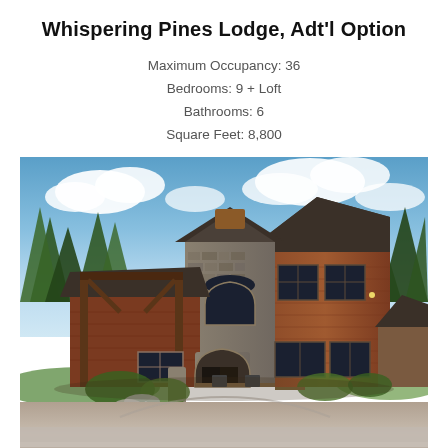Whispering Pines Lodge, Adt'l Option
Maximum Occupancy: 36
Bedrooms: 9 + Loft
Bathrooms: 6
Square Feet: 8,800
[Figure (photo): Exterior photo of Whispering Pines Lodge, a large rustic two-story lodge with cedar shake siding, stone accents, a covered entryway with timber framing, arched windows, dark roof, surrounded by pine trees, with a circular gravel driveway in the foreground and blue sky with clouds above.]